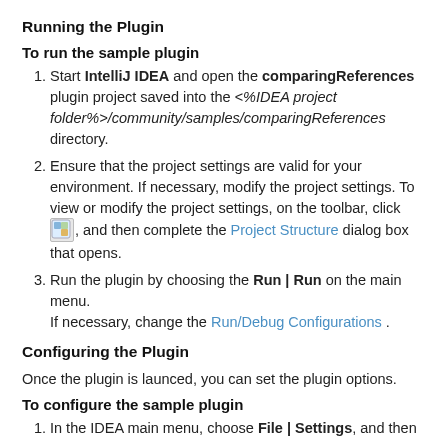Running the Plugin
To run the sample plugin
Start IntelliJ IDEA and open the comparingReferences plugin project saved into the <%IDEA project folder%>/community/samples/comparingReferences directory.
Ensure that the project settings are valid for your environment. If necessary, modify the project settings. To view or modify the project settings, on the toolbar, click [icon], and then complete the Project Structure dialog box that opens.
Run the plugin by choosing the Run | Run on the main menu. If necessary, change the Run/Debug Configurations .
Configuring the Plugin
Once the plugin is launced, you can set the plugin options.
To configure the sample plugin
In the IDEA main menu, choose File | Settings, and then